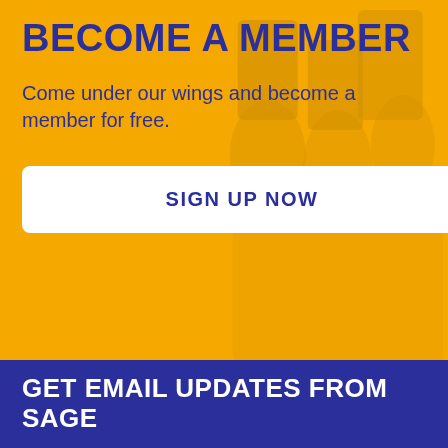BECOME A MEMBER
Come under our wings and become a member for free.
SIGN UP NOW
GET EMAIL UPDATES FROM SAGE